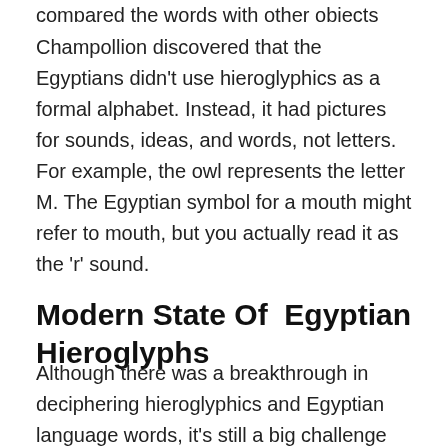compared the words with other objects from ancient Egypt.
Champollion discovered that the Egyptians didn't use hieroglyphics as a formal alphabet. Instead, it had pictures for sounds, ideas, and words, not letters. For example, the owl represents the letter M. The Egyptian symbol for a mouth might refer to mouth, but you actually read it as the 'r' sound.
Modern State Of  Egyptian Hieroglyphs
Although there was a breakthrough in deciphering hieroglyphics and Egyptian language words, it's still a big challenge for scholars to understand ancient writing